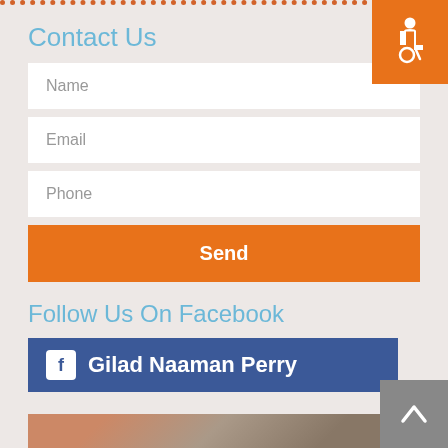Contact Us
[Figure (infographic): Accessibility icon (wheelchair symbol) in white on orange background, top right corner]
Name
Email
Phone
Send
Follow Us On Facebook
[Figure (infographic): Facebook page link button showing 'Gilad Naaman Perry' with Facebook logo on blue background]
[Figure (photo): Partial photo visible at bottom of page]
[Figure (infographic): Back to top button with upward chevron arrow on grey background, bottom right corner]